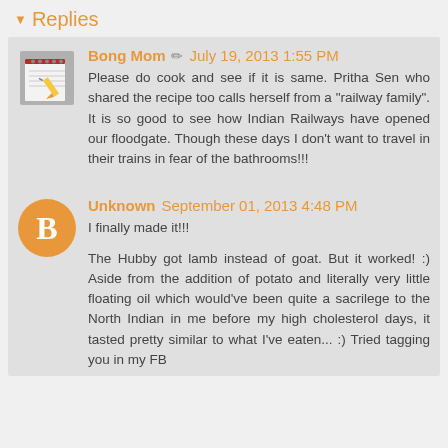Replies
Bong Mom July 19, 2013 1:55 PM
Please do cook and see if it is same. Pritha Sen who shared the recipe too calls herself from a "railway family". It is so good to see how Indian Railways have opened our floodgate. Though these days I don't want to travel in their trains in fear of the bathrooms!!!
Unknown September 01, 2013 4:48 PM
I finally made it!!!

The Hubby got lamb instead of goat. But it worked! :) Aside from the addition of potato and literally very little floating oil which would've been quite a sacrilege to the North Indian in me before my high cholesterol days, it tasted pretty similar to what I've eaten... :) Tried tagging you in my FB